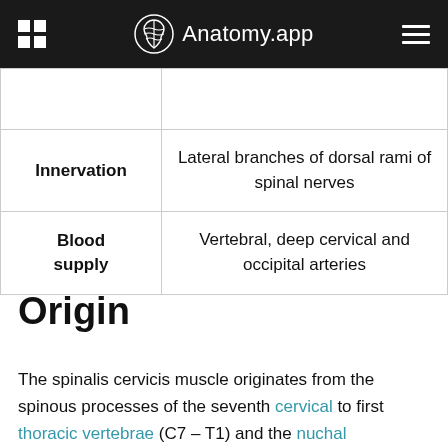Anatomy.app
|  |  |
| --- | --- |
|  |  |
| Innervation | Lateral branches of dorsal rami of spinal nerves |
| Blood supply | Vertebral, deep cervical and occipital arteries |
Origin
The spinalis cervicis muscle originates from the spinous processes of the seventh cervical to first thoracic vertebrae (C7 – T1) and the nuchal